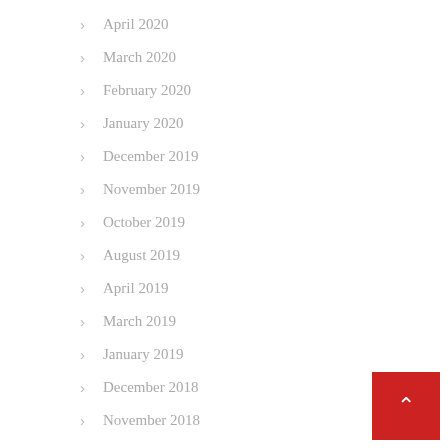April 2020
March 2020
February 2020
January 2020
December 2019
November 2019
October 2019
August 2019
April 2019
March 2019
January 2019
December 2018
November 2018